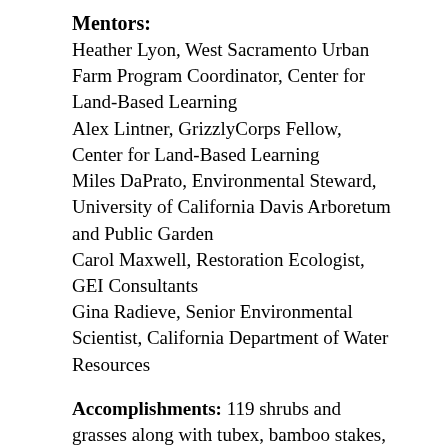Mentors:
Heather Lyon, West Sacramento Urban Farm Program Coordinator, Center for Land-Based Learning
Alex Lintner, GrizzlyCorps Fellow, Center for Land-Based Learning
Miles DaPrato, Environmental Steward, University of California Davis Arboretum and Public Garden
Carol Maxwell, Restoration Ecologist, GEI Consultants
Gina Radieve, Senior Environmental Scientist, California Department of Water Resources
Accomplishments: 119 shrubs and grasses along with tubex, bamboo stakes, and mulch!